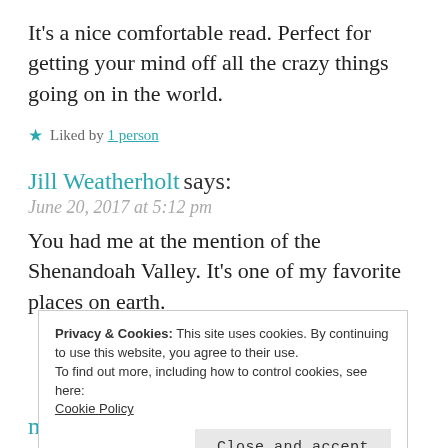It's a nice comfortable read. Perfect for getting your mind off all the crazy things going on in the world.
★ Liked by 1 person
Jill Weatherholt says:
June 20, 2017 at 5:12 pm
You had me at the mention of the Shenandoah Valley. It's one of my favorite places on earth.
Privacy & Cookies: This site uses cookies. By continuing to use this website, you agree to their use. To find out more, including how to control cookies, see here: Cookie Policy Close and accept
macjam47 says: